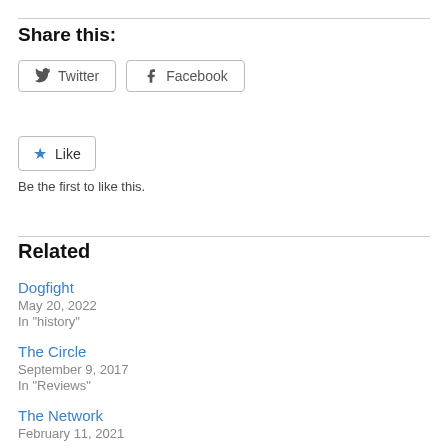Share this:
Twitter  Facebook
Like
Be the first to like this.
Related
Dogfight
May 20, 2022
In "history"
The Circle
September 9, 2017
In "Reviews"
The Network
February 11, 2021